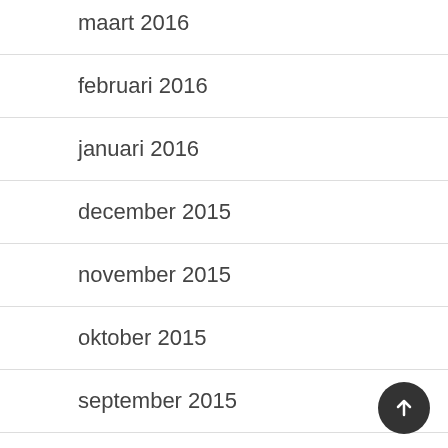maart 2016
februari 2016
januari 2016
december 2015
november 2015
oktober 2015
september 2015
augustus 2015
juli 2015
juni 2015
mei 2015
april 2015
maart 2015